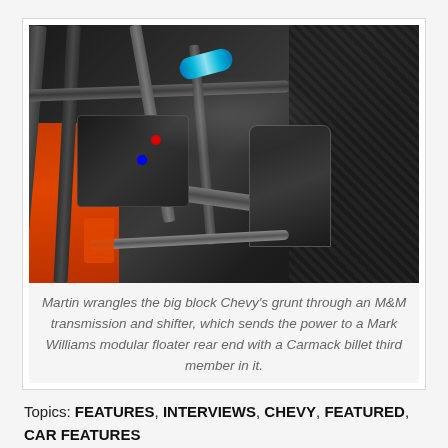[Figure (photo): Interior of a racing car showing roll cage tubes, black fuel cell equipment box, blue nitrous bottle, driver seat, carbon fiber panels, red/blue AN fittings, and orange/red body panels. The cockpit area is photographed from the passenger side looking in.]
Martin wrangles the big block Chevy's grunt through an M&M transmission and shifter, which sends the power to a Mark Williams modular floater rear end with a Carmack billet third member in it.
Topics: FEATURES, INTERVIEWS, CHEVY, FEATURED, CAR FEATURES